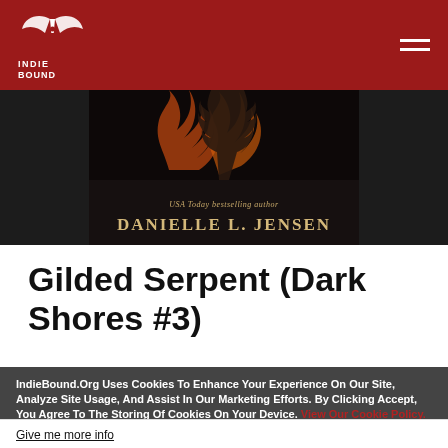IndieBound
[Figure (illustration): Book banner with dark background showing author name 'Danielle L. Jensen' and 'USA Today bestselling author' text with flame/figure art above]
Gilded Serpent (Dark Shores #3)
IndieBound.Org Uses Cookies To Enhance Your Experience On Our Site, Analyze Site Usage, And Assist In Our Marketing Efforts. By Clicking Accept, You Agree To The Storing Of Cookies On Your Device. View Our Cookie Policy.
Give me more info